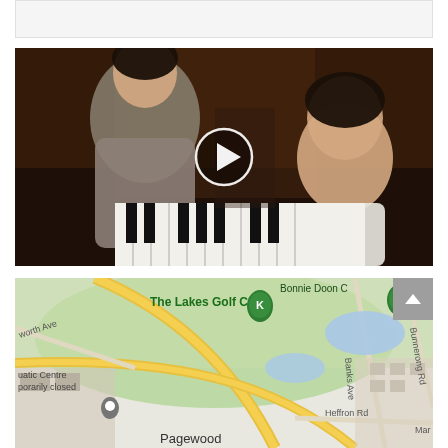[Figure (other): Top bar / header region with light gray background]
[Figure (photo): Video thumbnail showing a woman and young girl at a piano, with a circular play button overlay in the center]
[Figure (map): Google Maps screenshot showing The Lakes Golf Club area, Pagewood, Bonnie Doon, Banks Ave, Heffron Rd, Bunnerong Rd, with green map markers and a location pin]